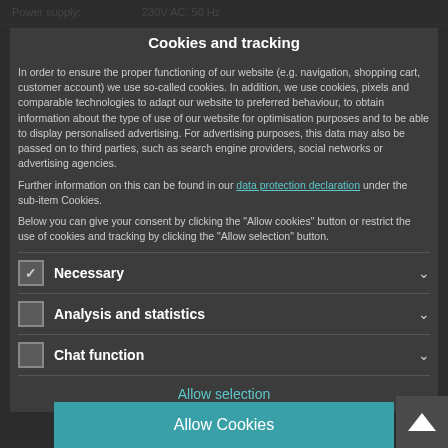TECHNICAL SPECIFICATIONS
| Specification | Value |
| --- | --- |
| Power supply: | 230V AC, 50 Hz |
| Power consumption: |  |
| Output power: | 120 W RMS |
| Power connection: | Fixed power supply cord with safety plug |
| Frequency range: | 80 - 14000 Hz |
| S/N ratio: | >85 dB line |
Cookies and tracking
In order to ensure the proper functioning of our website (e.g. navigation, shopping cart, customer account) we use so-called cookies. In addition, we use cookies, pixels and comparable technologies to adapt our website to preferred behaviour, to obtain information about the type of use of our website for optimisation purposes and to be able to display personalised advertising. For advertising purposes, this data may also be passed on to third parties, such as search engine providers, social networks or advertising agencies.
Further information on this can be found in our data protection declaration under the sub-item Cookies.
Below you can give your consent by clicking the "Allow cookies" button or restrict the use of cookies and tracking by clicking the "Allow selection" button.
Necessary (checked)
Analysis and statistics
Chat function
Allow selection
Allow Cookies